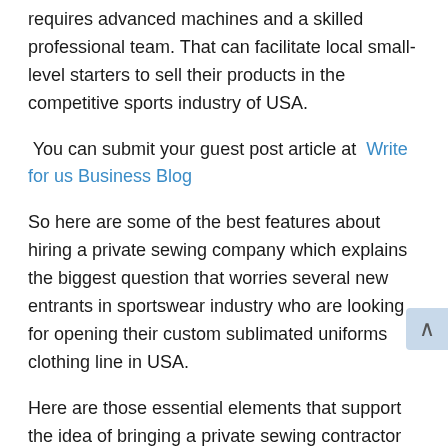requires advanced machines and a skilled professional team. That can facilitate local small-level starters to sell their products in the competitive sports industry of USA.
You can submit your guest post article at  Write for us Business Blog
So here are some of the best features about hiring a private sewing company which explains the biggest question that worries several new entrants in sportswear industry who are looking for opening their custom sublimated uniforms clothing line in USA.
Here are those essential elements that support the idea of bringing a private sewing contractor for covering all